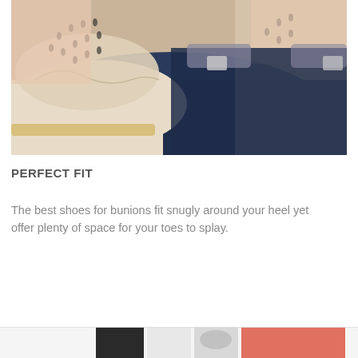[Figure (photo): Close-up photograph of a person wearing beige/cream leather flat shoes with decorative perforated cutout pattern and stitching detail, wearing dark blue jeans, feet resting on a surface.]
PERFECT FIT
The best shoes for bunions fit snugly around your heel yet offer plenty of space for your toes to splay.
[Figure (photo): Bottom strip showing partial shoe product images — dark shoe on left, white/light shoe thumbnails, and a pink/salmon colored bar on the right.]